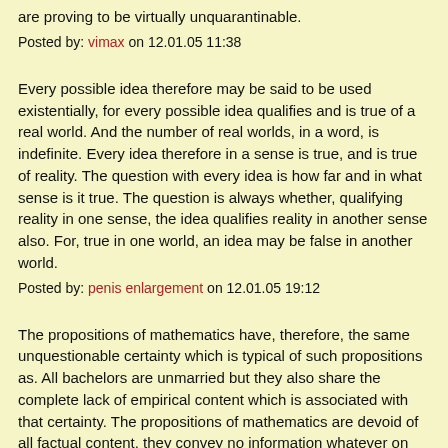are proving to be virtually unquarantinable.
Posted by: vimax on 12.01.05 11:38
Every possible idea therefore may be said to be used existentially, for every possible idea qualifies and is true of a real world. And the number of real worlds, in a word, is indefinite. Every idea therefore in a sense is true, and is true of reality. The question with every idea is how far and in what sense is it true. The question is always whether, qualifying reality in one sense, the idea qualifies reality in another sense also. For, true in one world, an idea may be false in another world.
Posted by: penis enlargement on 12.01.05 19:12
The propositions of mathematics have, therefore, the same unquestionable certainty which is typical of such propositions as. All bachelors are unmarried but they also share the complete lack of empirical content which is associated with that certainty. The propositions of mathematics are devoid of all factual content, they convey no information whatever on any empirical subject matter.
Posted by: penis enlargement pills on 12.01.05 23:50
I was not even satisfied with the usual debauchery, because the only thing it dirties is debauchery itself, while, in some way or other, anything sublime and perfectly pure is left intact by it. My kind of debauchery soils not only my body and my thoughts, but also anything I may